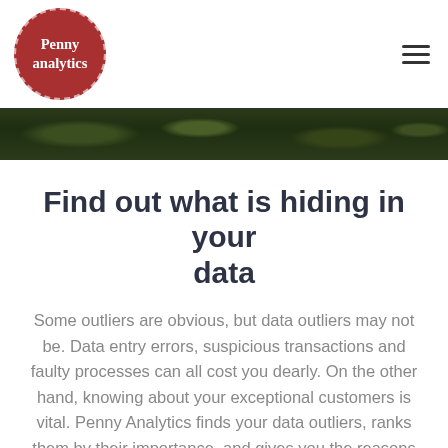[Figure (logo): Penny analytics circular logo — dark red circle with dashed white border, white serif bold text reading 'Penny analytics']
Find out what is hiding in your data
Some outliers are obvious, but data outliers may not be. Data entry errors, suspicious transactions and faulty processes can all cost you dearly. On the other hand, knowing about your exceptional customers is vital. Penny Analytics finds your data outliers, ranks them by their importance, and gives you the reasons why.